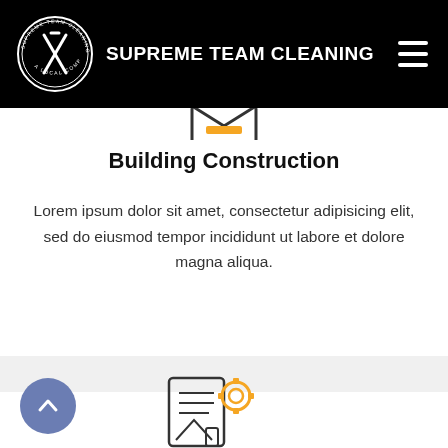SUPREME TEAM CLEANING
[Figure (illustration): Partial construction/building icon with yellow accent at top of white card]
Building Construction
Lorem ipsum dolor sit amet, consectetur adipisicing elit, sed do eiusmod tempor incididunt ut labore et dolore magna aliqua.
[Figure (illustration): Blueprint/settings gear engineering icon at bottom of page]